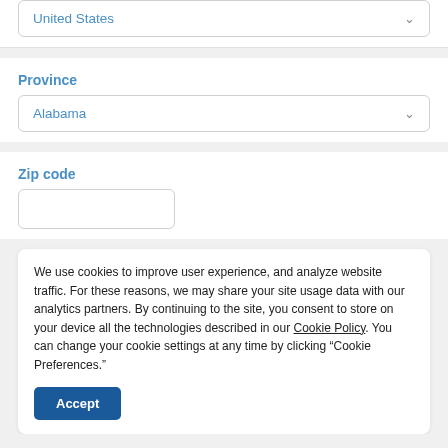United States
Province
Alabama
Zip code
We use cookies to improve user experience, and analyze website traffic. For these reasons, we may share your site usage data with our analytics partners. By continuing to the site, you consent to store on your device all the technologies described in our Cookie Policy. You can change your cookie settings at any time by clicking “Cookie Preferences.”
Accept